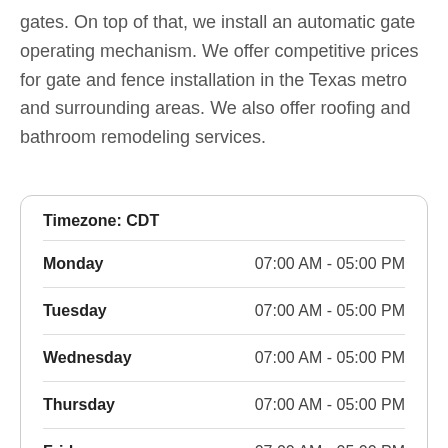gates. On top of that, we install an automatic gate operating mechanism. We offer competitive prices for gate and fence installation in the Texas metro and surrounding areas. We also offer roofing and bathroom remodeling services.
| Day | Hours |
| --- | --- |
| Timezone: CDT |  |
| Monday | 07:00 AM - 05:00 PM |
| Tuesday | 07:00 AM - 05:00 PM |
| Wednesday | 07:00 AM - 05:00 PM |
| Thursday | 07:00 AM - 05:00 PM |
| Friday | 07:00 AM - 05:00 PM |